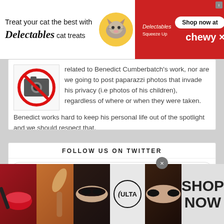[Figure (infographic): Delectables cat treats advertisement banner: 'Treat your cat the best with Delectables cat treats' with cat image, product images, 'Shop now at' button and Chewy logo on red background]
related to Benedict Cumberbatch's work, nor are we going to post paparazzi photos that invade his privacy (i.e photos of his children), regardless of where or when they were taken. Benedict works hard to keep his personal life out of the spotlight and we should respect that.
FOLLOW US ON TWITTER
Tweets from
[Figure (infographic): Bottom advertisement banner for ULTA beauty: collage of makeup/beauty images (lips, brush, eyes) with ULTA logo and 'SHOP NOW' call to action on dark background]